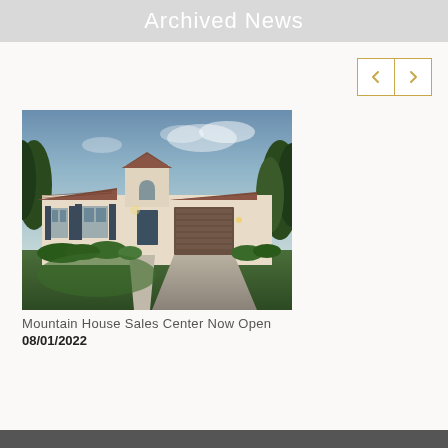Archived News
[Figure (photo): Exterior rendering of a single-story Mediterranean-style house with stucco walls, clay tile roof, brown garage door, shuttered windows, and landscaped front yard at dusk]
Mountain House Sales Center Now Open
08/01/2022